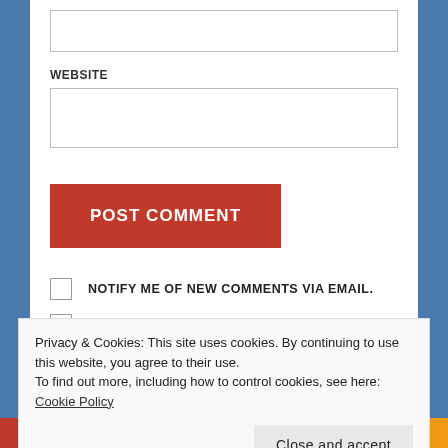WEBSITE
POST COMMENT
NOTIFY ME OF NEW COMMENTS VIA EMAIL.
NOTIFY ME OF NEW POSTS VIA EMAIL.
Privacy & Cookies: This site uses cookies. By continuing to use this website, you agree to their use.
To find out more, including how to control cookies, see here: Cookie Policy
Close and accept
MICHAEL WALSH BOOKSTORE AMAZING CHOICE